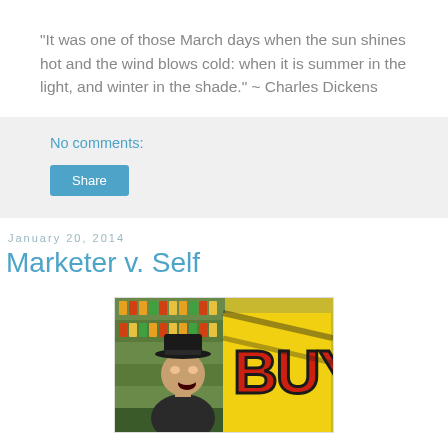"It was one of those March days when the sun shines hot and the wind blows cold: when it is summer in the light, and winter in the shade." ~ Charles Dickens
No comments:
Share
January 20, 2014
Marketer v. Self
[Figure (photo): A man wearing a black hat, shouting or yelling, holding a yellow sign with 'BUY' written in large red and black letters. The background shows store shelves with colorful products.]